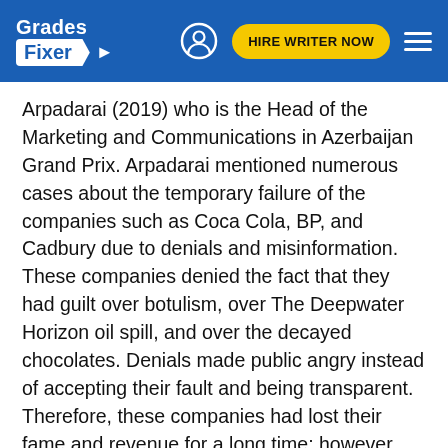Grades Fixer | HIRE WRITER NOW
Arpadarai (2019) who is the Head of the Marketing and Communications in Azerbaijan Grand Prix. Arpadarai mentioned numerous cases about the temporary failure of the companies such as Coca Cola, BP, and Cadbury due to denials and misinformation. These companies denied the fact that they had guilt over botulism, over The Deepwater Horizon oil spill, and over the decayed chocolates. Denials made public angry instead of accepting their fault and being transparent. Therefore, these companies had lost their fame and revenue for a long time; however, the heads of firms confessed the responsibility and pressed transparent news. All in all, companies themselves should consider that even denials and misinformation may cost their status as well as fake news on social media.